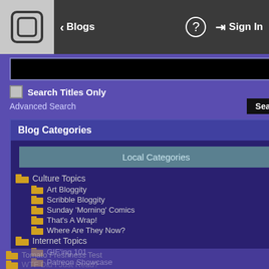Blogs | Sign In
Search Titles Only
Advanced Search | Search
Blog Categories
Local Categories
Culture Topics
Art Bloggity
Scribble Bloggity
Sunday 'Morning' Comics
That's A Wrap!
Where Are They Now?
Internet Topics
GIF'ing 101
Patreon Showcase
Tomato Freshness Test
WTF Did I Just Read?
Blending
[Figure (photo): Outdoor night photo showing water with orange/yellow light reflections and bare trees]
The Move To Chic...
Date: 01 May 2017
Time: 1:02 PM ET
Mood: Back to the blogging...
Follow me on Twitter!
Send me a VM!
Been a long time since I've w... my university career comes t... opened up for me. And as w... the title of this blog entry I h...